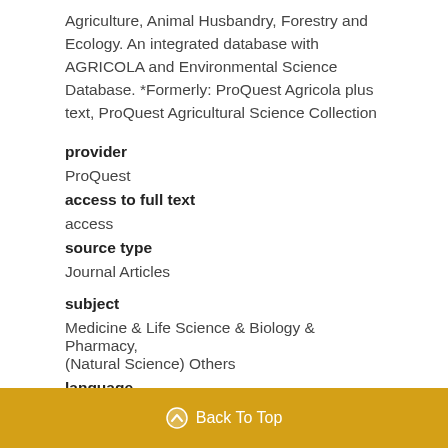Agriculture, Animal Husbandry, Forestry and Ecology. An integrated database with AGRICOLA and Environmental Science Database. *Formerly: ProQuest Agricola plus text, ProQuest Agricultural Science Collection
provider
ProQuest
access to full text
access
source type
Journal Articles
subject
Medicine & Life Science & Biology & Pharmacy, (Natural Science) Others
language
Western language
Back To Top